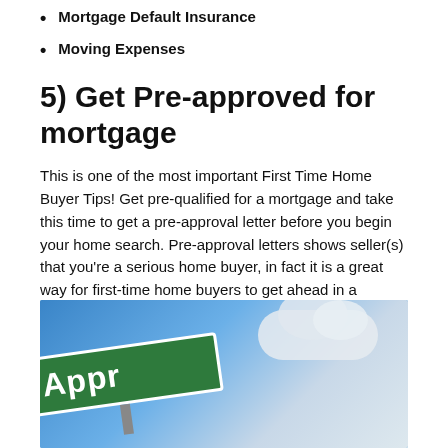Mortgage Default Insurance
Moving Expenses
5) Get Pre-approved for mortgage
This is one of the most important First Time Home Buyer Tips! Get pre-qualified for a mortgage and take this time to get a pre-approval letter before you begin your home search. Pre-approval letters shows seller(s) that you’re a serious home buyer, in fact it is a great way for first-time home buyers to get ahead in a competitive market.
[Figure (photo): A green street sign reading 'Appr...' (Approved) at an angle against a blue sky with clouds.]